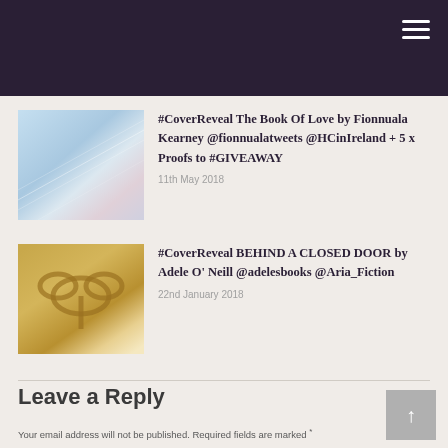#CoverReveal The Book Of Love by Fionnuala Kearney @fionnualatweets @HCinIreland + 5 x Proofs to #GIVEAWAY
11th May 2018
#CoverReveal BEHIND A CLOSED DOOR by Adele O' Neill @adelesbooks @Aria_Fiction
22nd January 2018
Leave a Reply
Your email address will not be published. Required fields are marked *